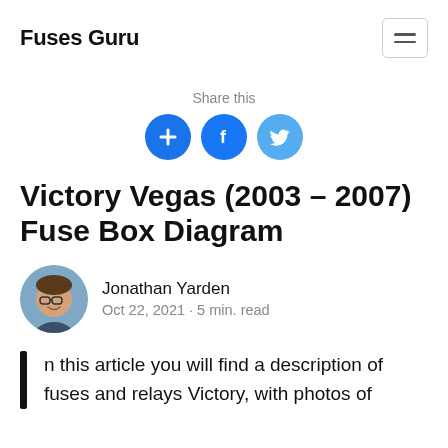Fuses Guru
Share this
[Figure (other): Share icons: add/plus, Facebook, Twitter]
Victory Vegas (2003 - 2007) Fuse Box Diagram
[Figure (photo): Author headshot of Jonathan Yarden, a man with glasses smiling]
Jonathan Yarden
Oct 22, 2021 · 5 min. read
In this article you will find a description of fuses and relays Victory, with photos of the diagrams and their locations.